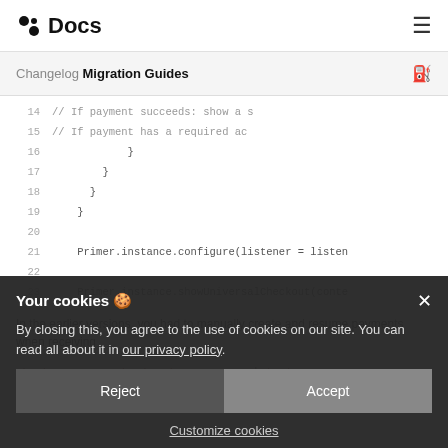Docs (logo) [hamburger menu]
Changelog Migration Guides
14    // If payment succeeds: show a s
15    // If payment has a required ac
16    }
17   }
18  }
19 }
20
21  Primer.instance.configure(listener = listen
22
23  Primer.instance.showUniversalCheckout(conte
Your cookies 🍪
By closing this, you agree to the use of cookies on our site. You can read all about it in our privacy policy.
In the earlier versions, you had to manually create and resume payments when receiving
CheckoutEvent.TokenizationSuccess and CheckoutEvent.ResumeSuccess. Not anymore.